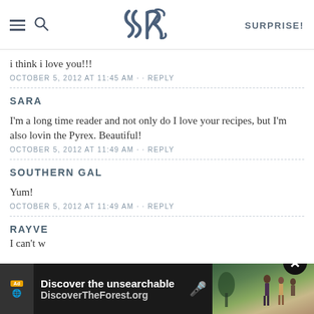SK — SURPRISE!
i think i love you!!!
OCTOBER 5, 2012 AT 11:45 AM · · REPLY
SARA
I'm a long time reader and not only do I love your recipes, but I'm also lovin the Pyrex. Beautiful!
OCTOBER 5, 2012 AT 11:49 AM · · REPLY
SOUTHERN GAL
Yum!
OCTOBER 5, 2012 AT 11:49 AM · · REPLY
RAYVE
I can't w... store
[Figure (screenshot): Advertisement banner: 'Discover the unsearchable / DiscoverTheForest.org' with forest photo and close button]